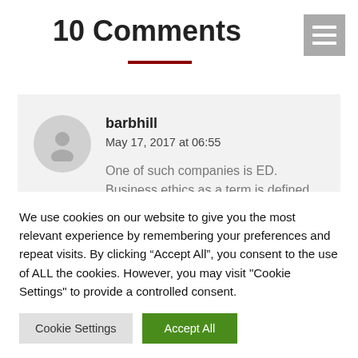10 Comments
barbhill
May 17, 2017 at 06:55

One of such companies is ED. Business ethics as a term is defined on the very first page of the tech company
We use cookies on our website to give you the most relevant experience by remembering your preferences and repeat visits. By clicking “Accept All”, you consent to the use of ALL the cookies. However, you may visit "Cookie Settings" to provide a controlled consent.